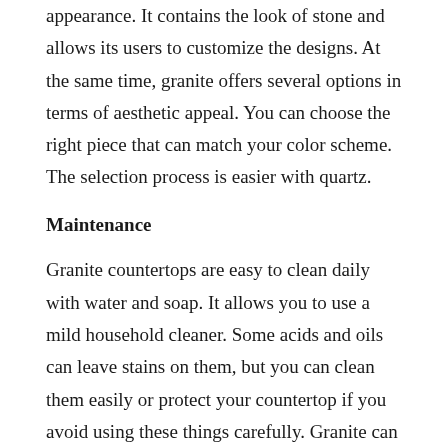appearance. It contains the look of stone and allows its users to customize the designs. At the same time, granite offers several options in terms of aesthetic appeal. You can choose the right piece that can match your color scheme. The selection process is easier with quartz.
Maintenance
Granite countertops are easy to clean daily with water and soap. It allows you to use a mild household cleaner. Some acids and oils can leave stains on them, but you can clean them easily or protect your countertop if you avoid using these things carefully. Granite can crack, needs professional installation, and can be expensive.
You will need to clean spills on countertops of quartz